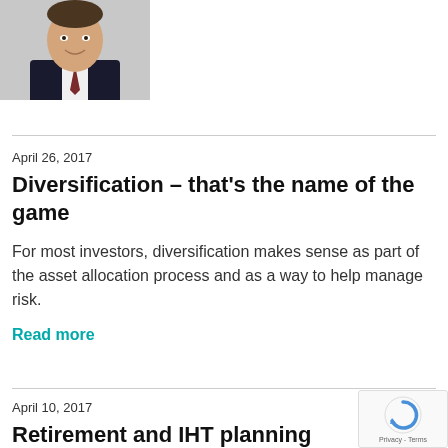[Figure (photo): Headshot of a man in a dark suit with a patterned tie against a light background]
April 26, 2017
Diversification – that's the name of the game
For most investors, diversification makes sense as part of the asset allocation process and as a way to help manage risk.
Read more
April 10, 2017
Retirement and IHT planning intertwined: